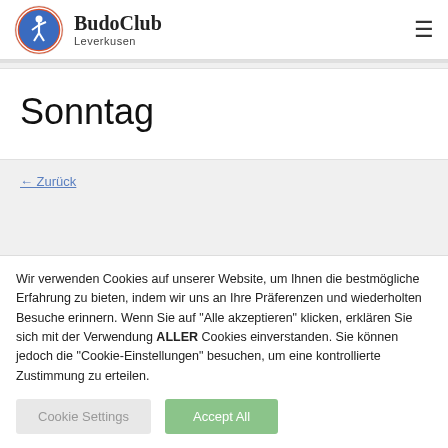BudoClub Leverkusen
Sonntag
← Zurück
Wir verwenden Cookies auf unserer Website, um Ihnen die bestmögliche Erfahrung zu bieten, indem wir uns an Ihre Präferenzen und wiederholten Besuche erinnern. Wenn Sie auf "Alle akzeptieren" klicken, erklären Sie sich mit der Verwendung ALLER Cookies einverstanden. Sie können jedoch die "Cookie-Einstellungen" besuchen, um eine kontrollierte Zustimmung zu erteilen.
Cookie Settings | Accept All